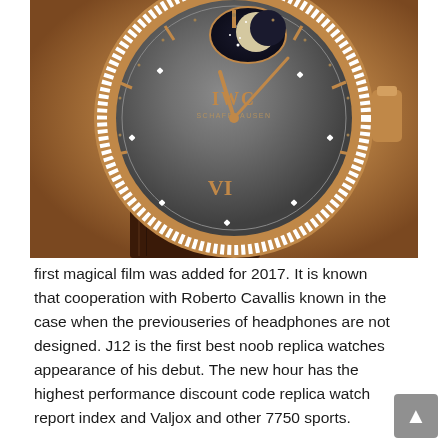[Figure (photo): Close-up photograph of an IWC Schaffhausen luxury watch with a grey mother-of-pearl dial, rose gold case with diamond bezel, moonphase complication, rose gold hour markers and hands, and a brown crocodile leather strap.]
first magical film was added for 2017. It is known that cooperation with Roberto Cavallis known in the case when the previouseries of headphones are not designed. J12 is the first best noob replica watches appearance of his debut. The new hour has the highest performance discount code replica watch report index and Valjox and other 7750 sports.